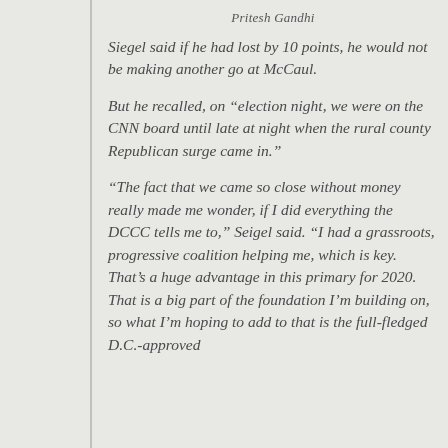Pritesh Gandhi
Siegel said if he had lost by 10 points, he would not be making another go at McCaul.
But he recalled, on “election night, we were on the CNN board until late at night when the rural county Republican surge came in.”
“The fact that we came so close without money really made me wonder, if I did everything the DCCC tells me to,” Seigel said. “I had a grassroots, progressive coalition helping me, which is key. That’s a huge advantage in this primary for 2020. That is a big part of the foundation I’m building on, so what I’m hoping to add to that is the full-fledged D.C.-approved